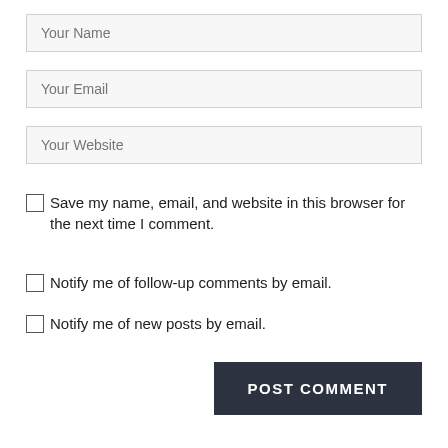Your Name
Your Email
Your Website
Save my name, email, and website in this browser for the next time I comment.
Notify me of follow-up comments by email.
Notify me of new posts by email.
POST COMMENT